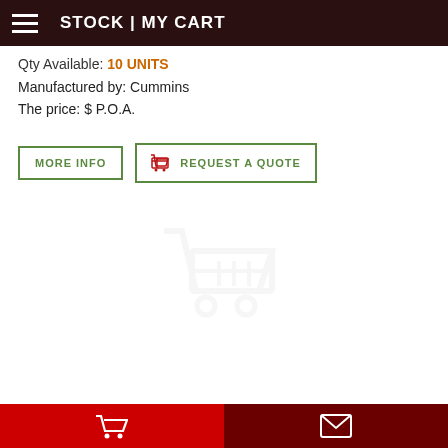STOCK | MY CART
Qty Available: 10 UNITS
Manufactured by: Cummins
The price: $ P.O.A.
MORE INFO | REQUEST A QUOTE
Cart | Envelope icons